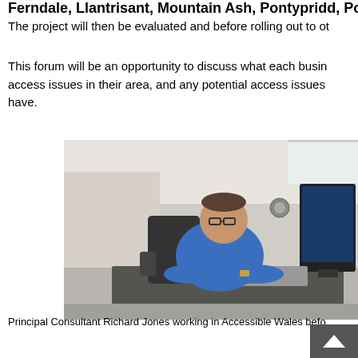Ferndale, Llantrisant, Mountain Ash, Pontypridd, Porth,
The project will then be evaluated and before rolling out to ot
This forum will be an opportunity to discuss what each business access issues in their area, and any potential access issues have.
[Figure (photo): Principal Consultant Richard Jones sitting at a desk with a computer monitor and keyboard in the Accessible Wales office]
Principal Consultant Richard Jones working in Accessible Wales befo